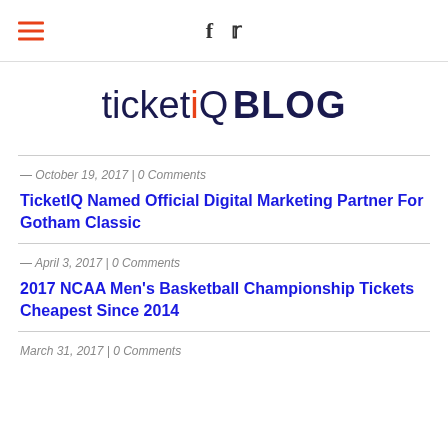ticketIQ BLOG
ticketIQ BLOG
— October 19, 2017 | 0 Comments
TicketIQ Named Official Digital Marketing Partner For Gotham Classic
— April 3, 2017 | 0 Comments
2017 NCAA Men's Basketball Championship Tickets Cheapest Since 2014
March 31, 2017 | 0 Comments